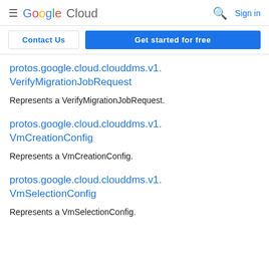Google Cloud  Sign in
Contact Us  Get started for free
protos.google.cloud.clouddms.v1.VerifyMigrationJobRequest
Represents a VerifyMigrationJobRequest.
protos.google.cloud.clouddms.v1.VmCreationConfig
Represents a VmCreationConfig.
protos.google.cloud.clouddms.v1.VmSelectionConfig
Represents a VmSelectionConfig.